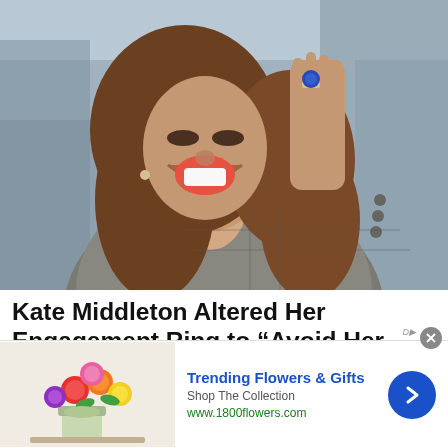[Figure (photo): Woman with long brown hair laughing and raising her hand showing a sapphire engagement ring, wearing a grey checked blazer, photographed outdoors]
Kate Middleton Altered Her Engagement Ring to “Avoid Her Worst Nightmare”
The ring was actually originally supposed to have been worn not by Prince William’s wife, but by Prince Harry’s (text cut off by ad)
[Figure (infographic): Advertisement banner: Trending Flowers & Gifts - Shop The Collection - www.1800flowers.com, with colorful flower bouquet image on left and blue arrow button on right]